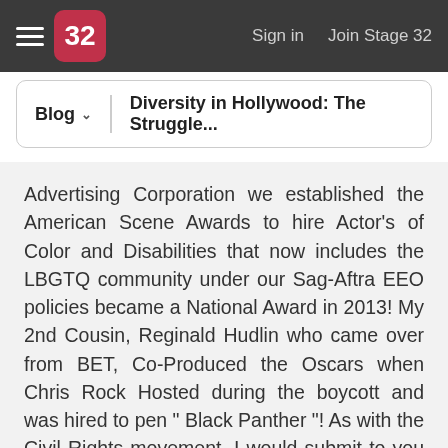32  Sign in  Join Stage 32
Blog  Diversity in Hollywood: The Struggle...
Advertising Corporation we established the American Scene Awards to hire Actor's of Color and Disabilities that now includes the LBGTQ community under our Sag-Aftra EEO policies became a National Award in 2013! My 2nd Cousin, Reginald Hudlin who came over from BET, Co-Produced the Oscars when Chris Rock Hosted during the boycott and was hired to pen " Black Panther "! As with the Civil Rights movement, I would submit to you that along with all faiths and colors there is a precedent as to who lead the way. So what is so compelling is that the Marketability is based on that 57% of Theater